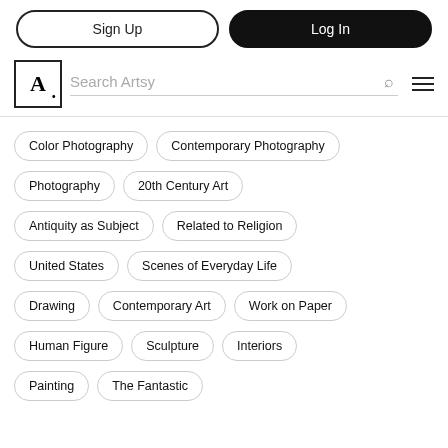Sign Up | Log In
Search Artsy
Color Photography
Contemporary Photography
Photography
20th Century Art
Antiquity as Subject
Related to Religion
United States
Scenes of Everyday Life
Drawing
Contemporary Art
Work on Paper
Human Figure
Sculpture
Interiors
Painting
The Fantastic